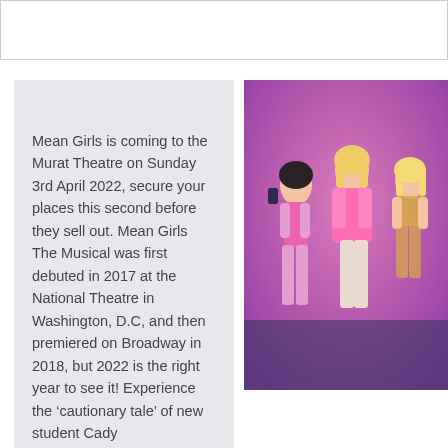Mean Girls is coming to the Murat Theatre on Sunday 3rd April 2022, secure your places this second before they sell out. Mean Girls The Musical was first debuted in 2017 at the National Theatre in Washington, D.C, and then premiered on Broadway in 2018, but 2022 is the right year to see it! Experience the 'cautionary tale' of new student Cady
[Figure (photo): Three actresses in pink costumes on stage performing Mean Girls The Musical]